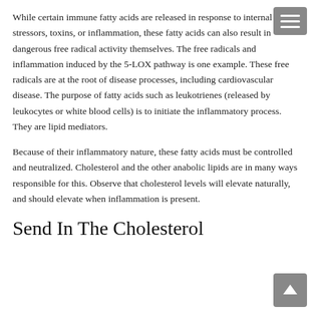While certain immune fatty acids are released in response to internal stressors, toxins, or inflammation, these fatty acids can also result in dangerous free radical activity themselves. The free radicals and inflammation induced by the 5-LOX pathway is one example. These free radicals are at the root of disease processes, including cardiovascular disease. The purpose of fatty acids such as leukotrienes (released by leukocytes or white blood cells) is to initiate the inflammatory process. They are lipid mediators.
Because of their inflammatory nature, these fatty acids must be controlled and neutralized. Cholesterol and the other anabolic lipids are in many ways responsible for this. Observe that cholesterol levels will elevate naturally, and should elevate when inflammation is present.
Send In The Cholesterol